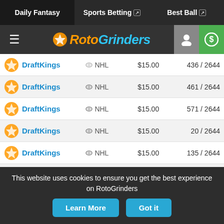Daily Fantasy | Sports Betting | Best Ball
[Figure (logo): RotoGrinders logo with hamburger menu, user icon, and dollar sign icon]
| Site | Sport | Price | Rank |
| --- | --- | --- | --- |
| DraftKings | NHL | $15.00 | 436 / 2644 |
| DraftKings | NHL | $15.00 | 461 / 2644 |
| DraftKings | NHL | $15.00 | 571 / 2644 |
| DraftKings | NHL | $15.00 | 20 / 2644 |
| DraftKings | NHL | $15.00 | 135 / 2644 |
| DraftKings | NHL | $15.00 | 202 / 2644 |
| DraftKings | NHL | $15.00 | 271 / 2644 |
| DraftKings | NHL | $15.00 | 305 / 2644 |
This website uses cookies to ensure you get the best experience on RotoGrinders
Learn More | Got it